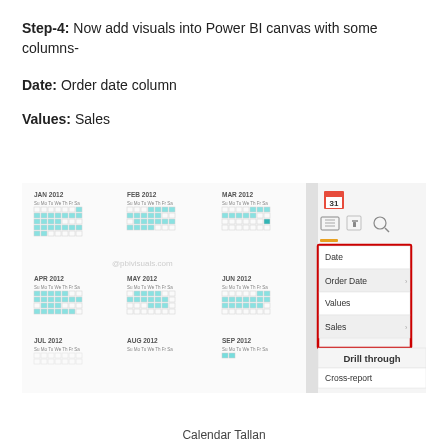Step-4: Now add visuals into Power BI canvas with some columns-
Date: Order date column
Values: Sales
[Figure (screenshot): Power BI canvas showing a Calendar Tallan visual with monthly calendar grids for JAN-SEP 2012 and a right-side panel showing Date (Order Date) and Values (Sales) fields highlighted in a red box, with Drill through and Cross-report options below.]
Calendar Tallan